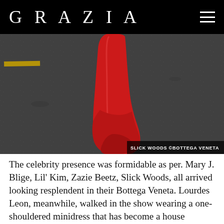GRAZIA
[Figure (photo): Close-up photograph of a red boot/leg against dark asphalt pavement with a yellow road marking visible. Photo credit: SLICK WOODS ©BOTTEGA VENETA]
The celebrity presence was formidable as per. Mary J. Blige, Lil' Kim, Zazie Beetz, Slick Woods, all arrived looking resplendent in their Bottega Veneta. Lourdes Leon, meanwhile, walked in the show wearing a one-shouldered minidress that has become a house signature under Lee.